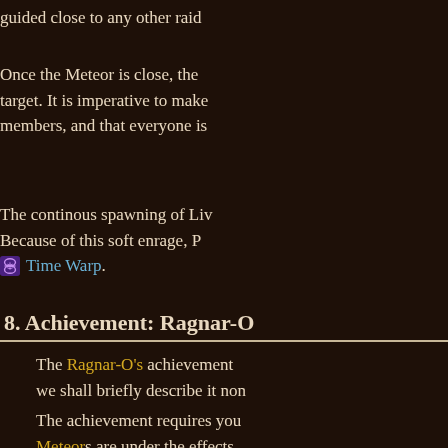guided close to any other raid
Once the Meteor is close, the target. It is imperative to make members, and that everyone is
The continous spawning of Liv Because of this soft enrage, P Time Warp.
8. Achievement: Ragnar-O
The Ragnar-O's achievement we shall briefly describe it non
The achievement requires you Meteors are under the effects involves the third and final pha increasing frequency) during th Sulfuras Smash, the subseque
Your raid's aim is to kite (and k Lava Wave. Doing so will not a th b d l ff